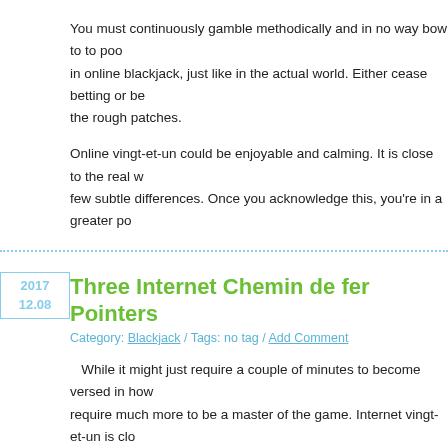You must continuously gamble methodically and in no way bow to to poo in online blackjack, just like in the actual world. Either cease betting or be the rough patches.
Online vingt-et-un could be enjoyable and calming. It is close to the real w few subtle differences. Once you acknowledge this, you're in a greater po
Three Internet Chemin de fer Pointers
Category: Blackjack / Tags: no tag / Add Comment
While it might just require a couple of minutes to become versed in how require much more to be a master of the game. Internet vingt-et-un is clo casinos, but there are a number of differences.
Here are three great online black jack tricks that will help you gamble stro
Net Twenty-one Hint 1